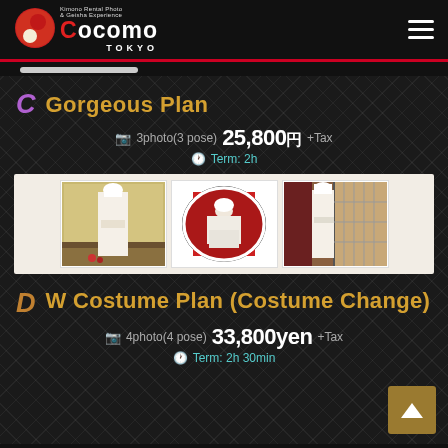[Figure (logo): Cocomo Tokyo kimono rental photo and geisha experience logo with red circle and white oval]
C Gorgeous Plan
3photo(3 pose)  25,800円  +Tax  Term: 2h
[Figure (photo): Three wedding kimono photos: standing figure with gold screen, seated oval portrait, standing figure with shoji screen]
D W Costume Plan (Costume Change)
4photo(4 pose)  33,800yen  +Tax  Term: 2h 30min